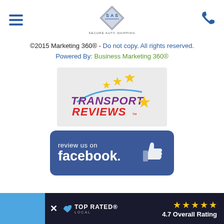Secure Auto Shipping navigation header with hamburger menu, logo, and phone icon
©2015 Marketing 360® - Do not copy. All rights reserved.
Powered By: Business Marketing 360®
[Figure (logo): Transport Reviews logo with stars and swoosh graphic]
[Figure (infographic): Review us on Facebook blue button with thumbs up icon]
[Figure (infographic): Top Rated Local banner with 4.7 Overall Rating and 5 gold stars]